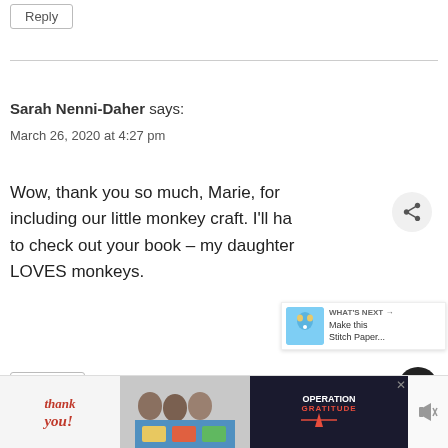Reply
Sarah Nenni-Daher says:
March 26, 2020 at 4:27 pm
Wow, thank you so much, Marie, for including our little monkey craft. I'll have to check out your book – my daughter LOVES monkeys.
[Figure (infographic): Heart/like button icon (dark circle with heart), share count 1.6K, share button, and What's Next panel with Stitch Paper craft thumbnail]
Reply
[Figure (infographic): Advertisement banner: Thank you text with pencil and star flag illustration, photo of people holding books, Operation Gratitude logo, and mute icon]